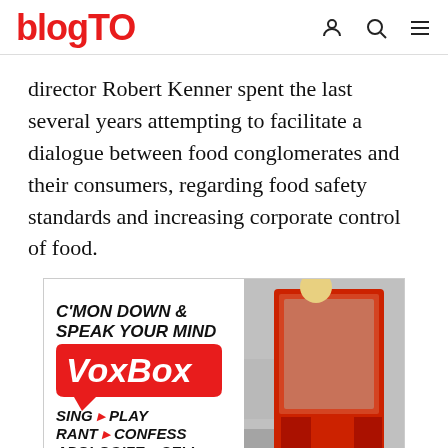blogTO
director Robert Kenner spent the last several years attempting to facilitate a dialogue between food conglomerates and their consumers, regarding food safety standards and increasing corporate control of food.
[Figure (illustration): VoxBox advertisement image showing a red booth/kiosk with the text 'C'MON DOWN & SPEAK YOUR MIND VoxBox SING PLAY RANT CONFESS APOLOGIZE SELL...' on the left side, and a red telephone booth-style kiosk on the right side.]
[Figure (illustration): Bottom ad banner overlay for VoxBox: 'C'MON DOWN & SPEAK YOUR MIND VoxBox SING PLAY RANT CONFESS APOLOGIZE SELL... 70 Jefferson Avenue in Liberty Village']